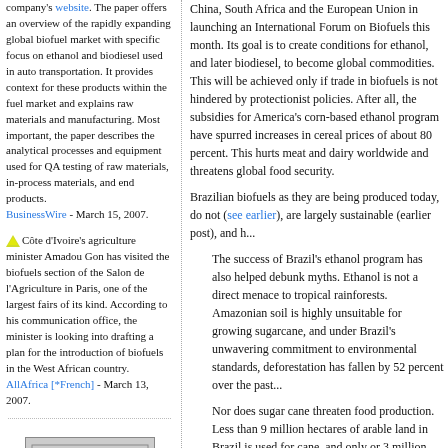company's website. The paper offers an overview of the rapidly expanding global biofuel market with specific focus on ethanol and biodiesel used in auto transportation. It provides context for these products within the fuel market and explains raw materials and manufacturing. Most important, the paper describes the analytical processes and equipment used for QA testing of raw materials, in-process materials, and end products. BusinessWire - March 15, 2007.
Côte d'Ivoire's agriculture minister Amadou Gon has visited the biofuels section of the Salon de l'Agriculture in Paris, one of the largest fairs of its kind. According to his communication office, the minister is looking into drafting a plan for the introduction of biofuels in the West African country. AllAfrica [*French] - March 13, 2007.
[Figure (logo): Creative Commons Some Rights Reserved badge]
China, South Africa and the European Union in launching an International Forum on Biofuels this month. Its goal is to create conditions for ethanol, and later biodiesel, to become global commodities. This will be achieved only if trade in biofuels is not hindered by protectionist policies. After all, the subsidies for America's corn-based ethanol program have spurred increases in cereal prices of about 80 percent. This hurts meat and dairy worldwide and threatens global food security.
Brazilian biofuels as they are being produced today, do not (see earlier), are largely sustainable (earlier post), and h...
The success of Brazil's ethanol program has also helped debunk myths. Ethanol is not a direct menace to tropical rainforests. Amazonian soil is highly unsuitable for growing sugarcane, and under Brazil's unwavering commitment to environmental standards, deforestation has fallen by 52 percent over the past...
Nor does sugar cane threaten food production. Less than 9 million hectares of arable land in Brazil is used for cane, and only or 3 million hectares, is used to harvest cane for ethanol. Some 200 million hectares are pasture, where the production of cane can expand. The real challenge in providing food security comes down to the poverty of those who regularly go hungry. That is why Brazil launched a campaign, in Brazil and abroad, to use...